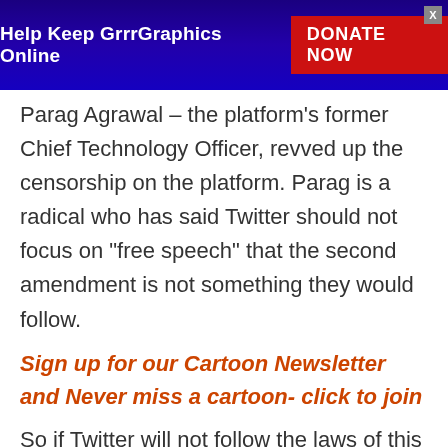Help Keep GrrrGraphics Online  DONATE NOW
Parag Agrawal – the platform’s former Chief Technology Officer, revved up the censorship on the platform. Parag is a radical who has said Twitter should not focus on “free speech” that the second amendment is not something they would follow.
Sign up for our Cartoon Newsletter and Never miss a cartoon- click to join
So if Twitter will not follow the laws of this country, what country’s laws do they plan on